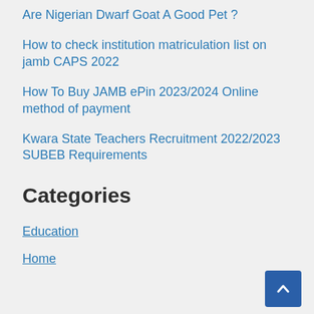Are Nigerian Dwarf Goat A Good Pet ?
How to check institution matriculation list on jamb CAPS 2022
How To Buy JAMB ePin 2023/2024 Online method of payment
Kwara State Teachers Recruitment 2022/2023 SUBEB Requirements
Categories
Education
Home